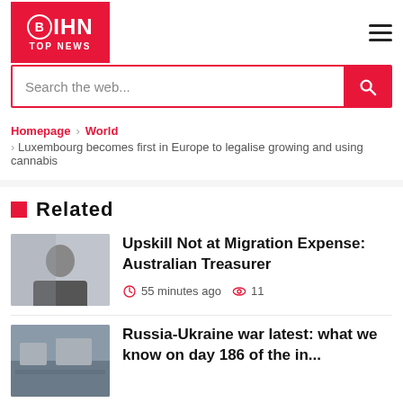BIHN TOP NEWS
Search the web...
Homepage › World › Luxembourg becomes first in Europe to legalise growing and using cannabis
Related
Upskill Not at Migration Expense: Australian Treasurer
55 minutes ago  11
Russia-Ukraine war latest: what we know on day 186 of the in...